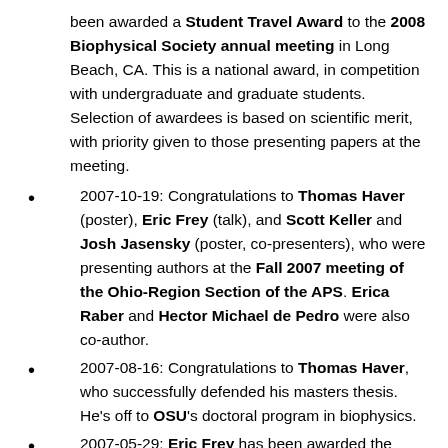been awarded a Student Travel Award to the 2008 Biophysical Society annual meeting in Long Beach, CA. This is a national award, in competition with undergraduate and graduate students. Selection of awardees is based on scientific merit, with priority given to those presenting papers at the meeting.
2007-10-19: Congratulations to Thomas Haver (poster), Eric Frey (talk), and Scott Keller and Josh Jasensky (poster, co-presenters), who were presenting authors at the Fall 2007 meeting of the Ohio-Region Section of the APS. Erica Raber and Hector Michael de Pedro were also co-author.
2007-08-16: Congratulations to Thomas Haver, who successfully defended his masters thesis. He’s off to OSU’s doctoral program in biophysics.
2007-05-29: Eric Frey has been awarded the Provost’s Student Academic Achievement Award, and is one of approximately 10 students to be honored at the fall